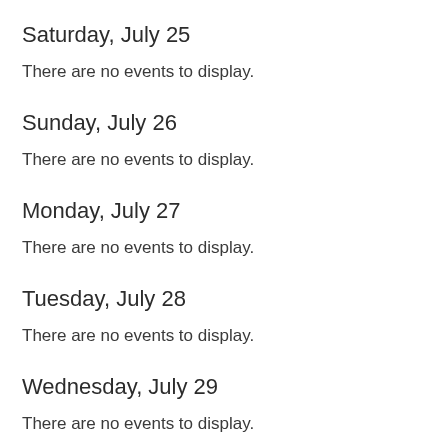Saturday, July 25
There are no events to display.
Sunday, July 26
There are no events to display.
Monday, July 27
There are no events to display.
Tuesday, July 28
There are no events to display.
Wednesday, July 29
There are no events to display.
Thursday, July 30